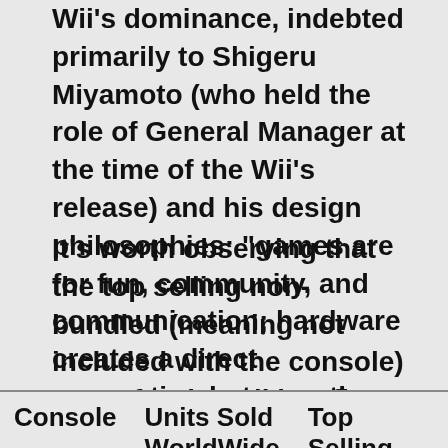Wii's dominance, indebted primarily to Shigeru Miyamoto (who held the role of General Manager at the time of the Wii's release) and his design philosophies: "games are for fun, community, and communication; hardware creates a direct connection between the player and the actions on the screen" (deWinter, 109).
It's worth observing that the top selling non-bundled (meaning not included with the console) game for the Wii is a first-party title console exclusive (designed by Nintendo and only available on the Wii), while the top selling game for both the Playstation 3 and the Xbox 360 is a third-party title (designed by an outside developer and available on multiple systems).
| Console | Units Sold WorldWide | Top Selling (non-bundled) |
| --- | --- | --- |
| Wii | 101.63 million | Mario Kart Wii |